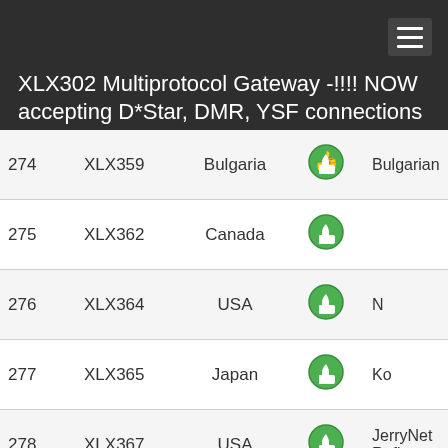XLX302 Multiprotocol Gateway -!!!! NOW accepting D*Star, DMR, YSF connections !!!!
| # | Callsign | Country | Status | Description |
| --- | --- | --- | --- | --- |
| 274 | XLX359 | Bulgaria | up | Bulgarian |
| 275 | XLX362 | Canada | up |  |
| 276 | XLX364 | USA | up | N |
| 277 | XLX365 | Japan | up | Ko |
| 278 | XLX367 | USA | up | JerryNet Refle |
| 279 | XLX369 | USA | down | Module A lin |
| 280 | XLX370 | Italy | up |  |